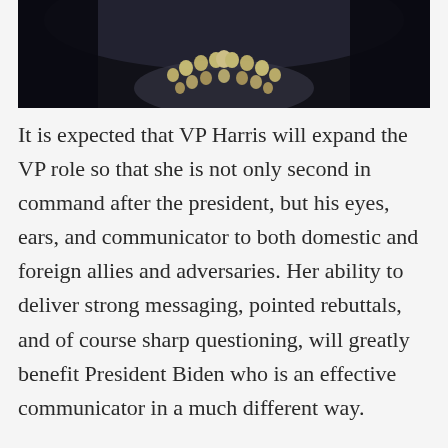[Figure (photo): Partial photo of a person wearing a pearl/beaded necklace against a dark background]
It is expected that VP Harris will expand the VP role so that she is not only second in command after the president, but his eyes, ears, and communicator to both domestic and foreign allies and adversaries. Her ability to deliver strong messaging, pointed rebuttals, and of course sharp questioning, will greatly benefit President Biden who is an effective communicator in a much different way.
Vice President Kamala will be front and center domestically when dealing with recalcitrant